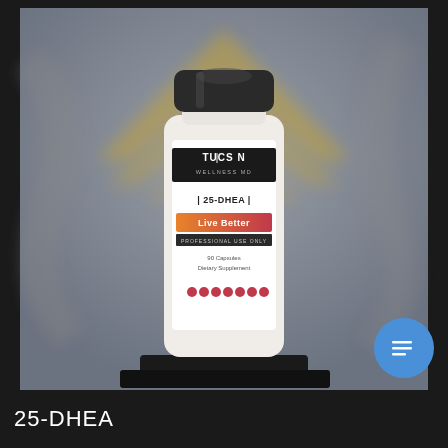[Figure (photo): A white supplement bottle labeled 'TUCSON WELLNESS MD 25-DHEA Live Better PROFESSIONAL USE ONLY 90 Capsules Dietary Supplement' with a dark cap, photographed against a blurred gray background with a gold and gray logo/emblem. A blue chat button is visible in the lower right corner of the image.]
25-DHEA